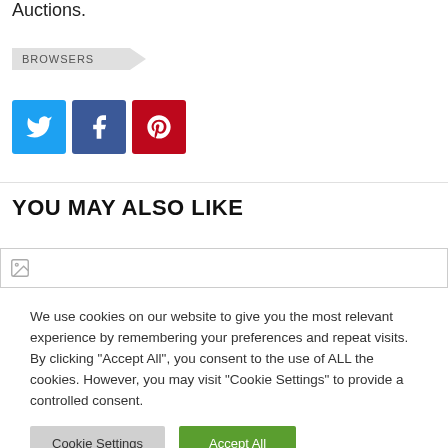Auctions.
BROWSERS
[Figure (other): Social share buttons: Twitter (blue), Facebook (dark blue), Pinterest (red)]
YOU MAY ALSO LIKE
[Figure (other): Broken image placeholder]
We use cookies on our website to give you the most relevant experience by remembering your preferences and repeat visits. By clicking "Accept All", you consent to the use of ALL the cookies. However, you may visit "Cookie Settings" to provide a controlled consent.
Cookie Settings | Accept All